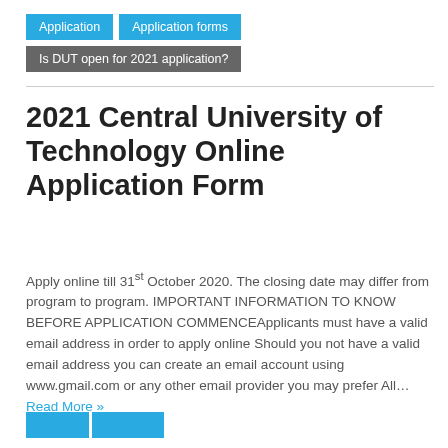Application | Application forms
Is DUT open for 2021 application?
2021 Central University of Technology Online Application Form
Apply online till 31st October 2020. The closing date may differ from program to program. IMPORTANT INFORMATION TO KNOW BEFORE APPLICATION COMMENCEApplicants must have a valid email address in order to apply online Should you not have a valid email address you can create an email account using www.gmail.com or any other email provider you may prefer All… Read More »